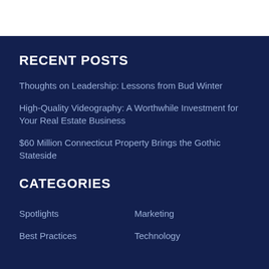RECENT POSTS
Thoughts on Leadership: Lessons from Bud Winter
High-Quality Videography: A Worthwhile Investment for Your Real Estate Business
$60 Million Connecticut Property Brings the Gothic Stateside
CATEGORIES
Spotlights
Marketing
Best Practices
Technology